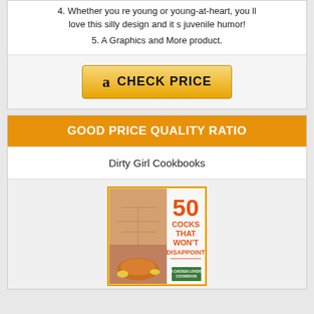4. Whether you re young or young-at-heart, you ll love this silly design and it s juvenile humor!
5. A Graphics and More product.
[Figure (other): Amazon CHECK PRICE button with Amazon logo]
GOOD PRICE QUALITY RATIO
Dirty Girl Cookbooks
[Figure (illustration): Book cover: 50 COCKS THAT WON'T DISAPPOINT - A Chicken Lovers Cookbook, showing muscular torso and roasted chicken]